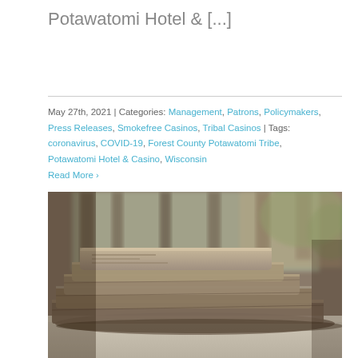Potawatomi Hotel & [...]
May 27th, 2021 | Categories: Management, Patrons, Policymakers, Press Releases, Smokefree Casinos, Tribal Casinos | Tags: coronavirus, COVID-19, Forest County Potawatomi Tribe, Potawatomi Hotel & Casino, Wisconsin
Read More >
[Figure (photo): Stack of folded newspapers on a table, blurred background with columns/pillars visible through a window]